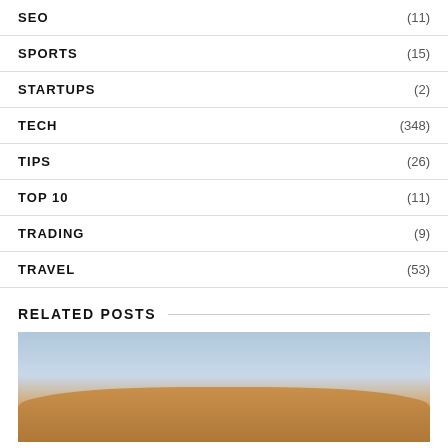SEO (11)
SPORTS (15)
STARTUPS (2)
TECH (348)
TIPS (26)
TOP 10 (11)
TRADING (9)
TRAVEL (53)
RELATED POSTS
[Figure (photo): Outdoor landscape photo showing sandy dunes or hills under a blue sky, partially visible at bottom of page.]